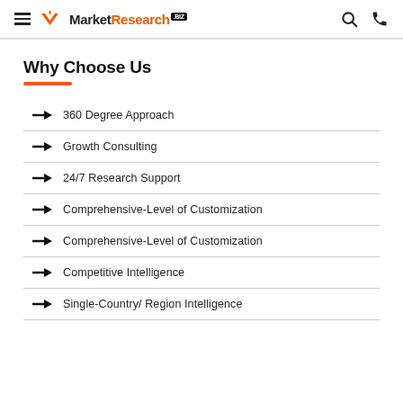MarketResearch.biz
Why Choose Us
360 Degree Approach
Growth Consulting
24/7 Research Support
Comprehensive-Level of Customization
Comprehensive-Level of Customization
Competitive Intelligence
Single-Country/ Region Intelligence